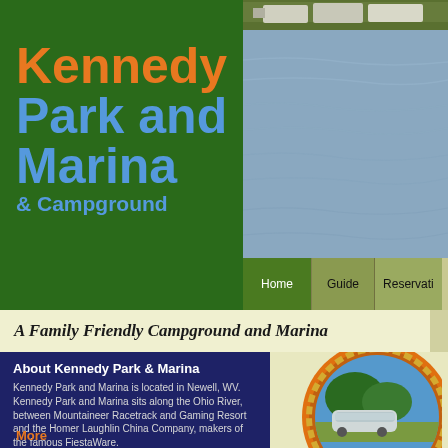Kennedy Park and Marina & Campground
[Figure (photo): Aerial/waterside photo of campground and marina along a river with RVs and trailers visible on the far shore]
[Figure (screenshot): Navigation bar with Home, Guide, and Reservati... tabs on olive/green background]
A Family Friendly Campground and Marina
About Kennedy Park & Marina
Kennedy Park and Marina is located in Newell, WV. Kennedy Park and Marina sits along the Ohio River, between Mountaineer Racetrack and Gaming Resort and the Homer Laughlin China Company, makers of the famous FiestaWare.
More
[Figure (logo): Round logo with rope border, orange background, showing a silver Airstream trailer and trees, with 'K' visible at bottom]